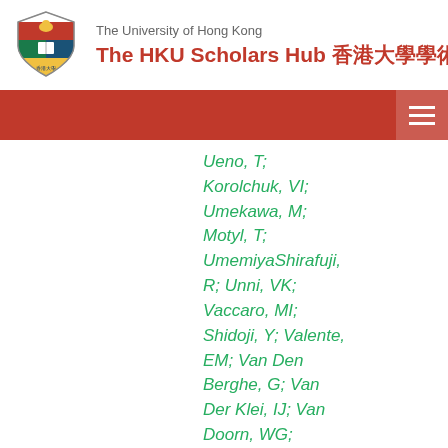The University of Hong Kong — The HKU Scholars Hub 香港大學學術庫
Ueno, T; Korolchuk, VI; Umekawa, M; Motyl, T; UmemiyaShirafuji, R; Unni, VK; Vaccaro, MI; Shidoji, Y; Valente, EM; Van Den Berghe, G; Van Der Klei, IJ; Van Doorn, WG; Sweeney, ST; Cai, D; Van Dyk, LF; Taylor, GA; Van Egmond, M; Van Grunsven, LA;